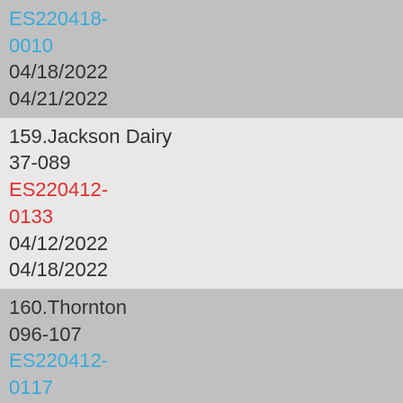ES220418-0010
04/18/2022
04/21/2022
159.Jackson Dairy
37-089
ES220412-0133
04/12/2022
04/18/2022
160.Thornton
096-107
ES220412-0117
04/12/2022
04/18/2022
161.Simply Natural
37-170
ES220412-0116
04/12/2022
04/18/2022
162.Grassroots Creamery